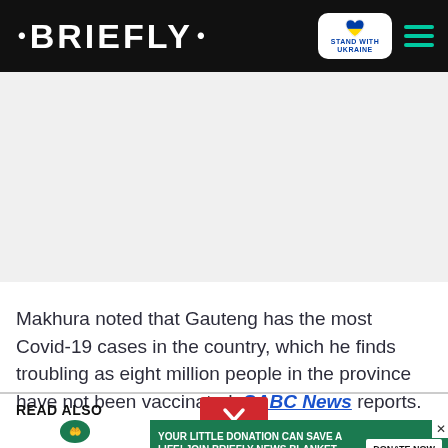• BRIEFLY •  STAND WITH UKRAINE  [hamburger menu]
[Figure (other): Gray advertisement placeholder area]
Makhura noted that Gauteng has the most Covid-19 cases in the country, which he finds troubling as eight million people in the province have not been vaccinated, SABC News reports.
READ ALSO
[Figure (other): Red chevron down button]
[Figure (other): Green advertisement banner: YOUR LITTLE DONATION CAN SAVE A LIFE! JOIN BRIEFLY NEWS BLANKET DRIVE! DONATE NOW, with Briefly logo and Gift of the Givers foundation logo]